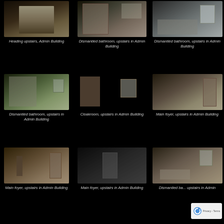[Figure (photo): Interior staircase going upstairs, Admin Building]
Heading upstairs, Admin Building
[Figure (photo): Dismantled bathroom interior, upstairs in Admin Building]
Dismantled bathroom, upstairs in Admin Building
[Figure (photo): Dismantled bathroom with plastic sheeting over window, upstairs in Admin Building]
Dismantled bathroom, upstairs in Admin Building
[Figure (photo): Dismantled bathroom with door removed, upstairs in Admin Building]
Dismantled bathroom, upstairs in Admin Building
[Figure (photo): Cloakroom with wooden shelving and window, upstairs in Admin Building]
Cloakroom, upstairs in Admin Building
[Figure (photo): Main foyer room with doorway, upstairs in Admin Building]
Main foyer, upstairs in Admin Building
[Figure (photo): Main foyer with person standing, upstairs in Admin Building]
Main foyer, upstairs in Admin Building
[Figure (photo): Main foyer dark interior with doorway, upstairs in Admin Building]
Main foyer, upstairs in Admin Building
[Figure (photo): Dismantled bathroom with window and bathtub, upstairs in Admin Building]
Dismantled ba... upstairs in Admin